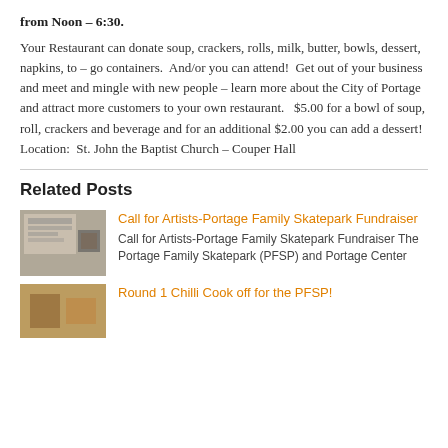from Noon – 6:30.
Your Restaurant can donate soup, crackers, rolls, milk, butter, bowls, dessert, napkins, to – go containers.  And/or you can attend!  Get out of your business and meet and mingle with new people – learn more about the City of Portage and attract more customers to your own restaurant.   $5.00 for a bowl of soup, roll, crackers and beverage and for an additional $2.00 you can add a dessert!  Location:  St. John the Baptist Church – Couper Hall
Related Posts
Call for Artists-Portage Family Skatepark Fundraiser
Call for Artists-Portage Family Skatepark Fundraiser The Portage Family Skatepark (PFSP) and Portage Center
Round 1 Chilli Cook off for the PFSP!